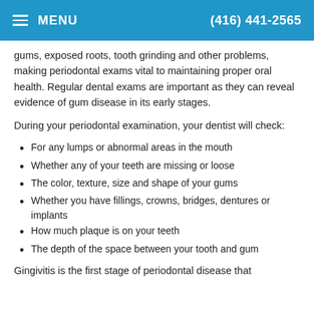MENU  (416) 441-2565
gums, exposed roots, tooth grinding and other problems, making periodontal exams vital to maintaining proper oral health. Regular dental exams are important as they can reveal evidence of gum disease in its early stages.
During your periodontal examination, your dentist will check:
For any lumps or abnormal areas in the mouth
Whether any of your teeth are missing or loose
The color, texture, size and shape of your gums
Whether you have fillings, crowns, bridges, dentures or implants
How much plaque is on your teeth
The depth of the space between your tooth and gum
Gingivitis is the first stage of periodontal disease that